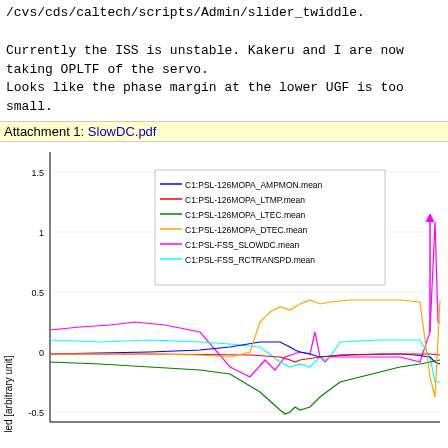/cvs/cds/caltech/scripts/Admin/slider_twiddle.

Currently the ISS is unstable. Kakeru and I are now taking OPLTF of the servo.
Looks like the phase margin at the lower UGF is too small.
Attachment 1: SlowDC.pdf
[Figure (continuous-plot): Multi-channel time-series plot titled with legend showing: C1:PSL-126MOPA_AMPMON.mean (blue), C1:PSL-126MOPA_LTMP.mean (red), C1:PSL-126MOPA_LTEC.mean (green), C1:PSL-126MOPA_DTEC.mean (orange), C1:PSL-FSS_SLOWDC.mean (magenta), C1:PSL-FSS_RCTRANSPD.mean (cyan). Y-axis label: scaled [arbitrary unit], Y range approximately -0.5 to 1.5.]